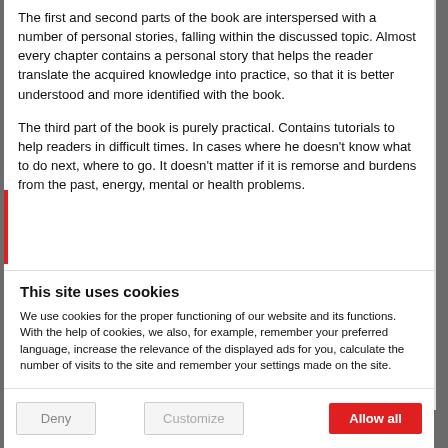The first and second parts of the book are interspersed with a number of personal stories, falling within the discussed topic. Almost every chapter contains a personal story that helps the reader translate the acquired knowledge into practice, so that it is better understood and more identified with the book.
The third part of the book is purely practical. Contains tutorials to help readers in difficult times. In cases where he doesn't know what to do next, where to go. It doesn't matter if it is remorse and burdens from the past, energy, mental or health problems.
This site uses cookies
We use cookies for the proper functioning of our website and its functions. With the help of cookies, we also, for example, remember your preferred language, increase the relevance of the displayed ads for you, calculate the number of visits to the site and remember your settings made on the site.